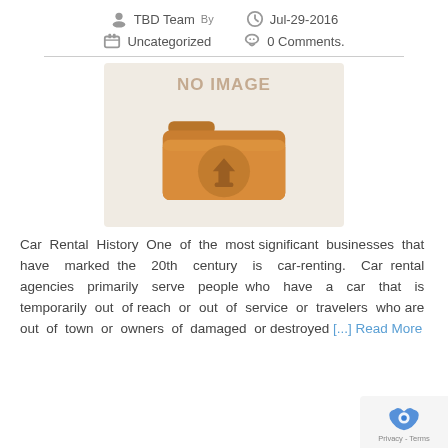TBD Team By  Jul-29-2016  Uncategorized  0 Comments.
[Figure (illustration): A placeholder image box with text 'NO IMAGE' above a folder icon with a download arrow symbol, on a beige background.]
Car Rental History One of the most significant businesses that have marked the 20th century is car-renting. Car rental agencies primarily serve people who have a car that is temporarily out of reach or out of service or travelers who are out of town or owners of damaged or destroyed [...] Read More